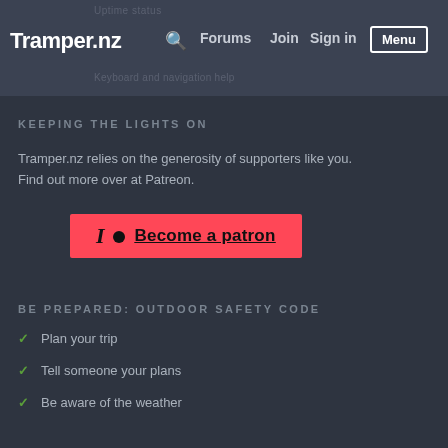Tramper.nz | Forums | Join | Sign in | Menu
KEEPING THE LIGHTS ON
Tramper.nz relies on the generosity of supporters like you. Find out more over at Patreon.
[Figure (screenshot): Patreon button with red background, Patreon logo icon, and underlined text 'Become a patron']
BE PREPARED: OUTDOOR SAFETY CODE
Plan your trip
Tell someone your plans
Be aware of the weather